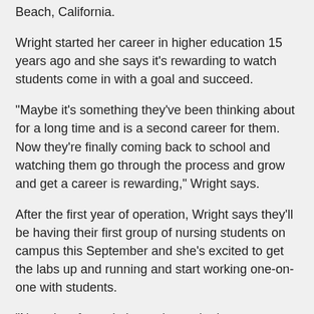Beach, California.
Wright started her career in higher education 15 years ago and she says it's rewarding to watch students come in with a goal and succeed.
“Maybe it’s something they’ve been thinking about for a long time and is a second career for them. Now they’re finally coming back to school and watching them go through the process and grow and get a career is rewarding,” Wright says.
After the first year of operation, Wright says they’ll be having their first group of nursing students on campus this September and she’s excited to get the labs up and running and start working one-on-one with students.
“Not a lot of people know that we’re here so once we have students out on clinical sites, there’ll be a lot more interest in the program,” she says.
A ribbon-cutting and open house will be held Wednesday, July 14 from noon to 3 p.m. Tours will be available with more information about the school. Lunch will be provided and